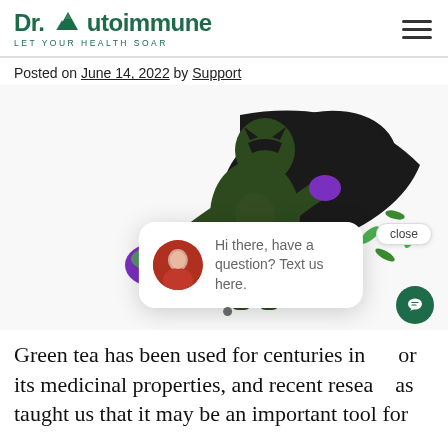Dr. Autoimmune — LET YOUR HEALTH SOAR
Posted on June 14, 2022 by Support
[Figure (illustration): Superhero character in dark green costume with purple accents and black cape, holding a teacup with green tea leaves. Green leaves scattered in the background. Chat popup overlay with avatar and text 'Hi there, have a question? Text us here.' and a close button. Teal chat icon in bottom right corner.]
Green tea has been used for centuries in for its medicinal properties, and recent research has taught us that it may be an important tool for